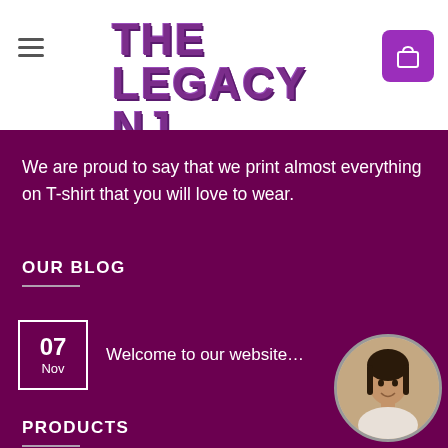[Figure (logo): The Legacy NJ logo with purple grunge text and green 'We Love 2 Print' subtitle]
We are proud to say that we print almost everything on T-shirt that you will love to wear.
OUR BLOG
07 Nov — Welcome to our website…
PRODUCTS
Parents Printed T-shirt - Model "Best dad honor"
£15.00  £13.00